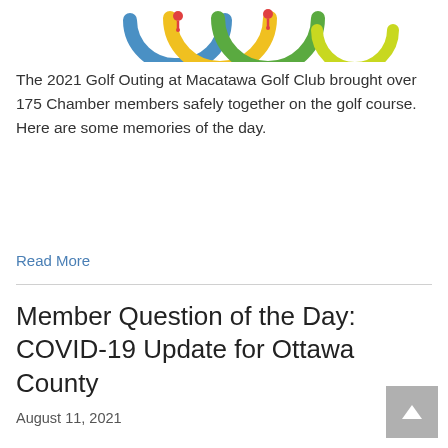[Figure (logo): Macatawa Golf Club logo banner with colorful arc/ring shapes in blue, yellow, green and location pin icons]
The 2021 Golf Outing at Macatawa Golf Club brought over 175 Chamber members safely together on the golf course. Here are some memories of the day.
Read More
Member Question of the Day: COVID-19 Update for Ottawa County
August 11, 2021